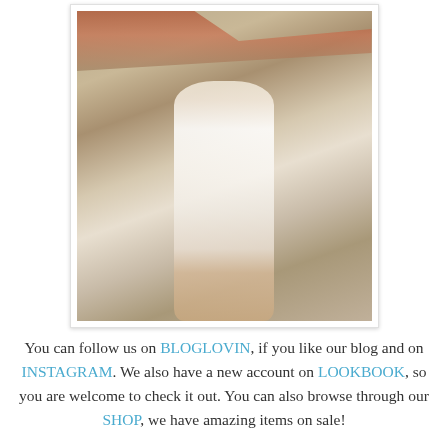[Figure (photo): A young blonde woman wearing a white lace sleeveless dress, standing outdoors against a stone/concrete wall with a rusty railing. Rustic rooftop tiles visible in the background.]
You can follow us on BLOGLOVIN, if you like our blog and on INSTAGRAM. We also have a new account on LOOKBOOK, so you are welcome to check it out. You can also browse through our SHOP, we have amazing items on sale!